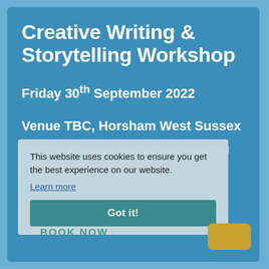Creative Writing & Storytelling Workshop
Friday 30th September 2022
Venue TBC, Horsham West Sussex
Cost: £99 - including all materials, refreshments and lunch.
This website uses cookies to ensure you get the best experience on our website.
Learn more
Got it!
BOOK NOW